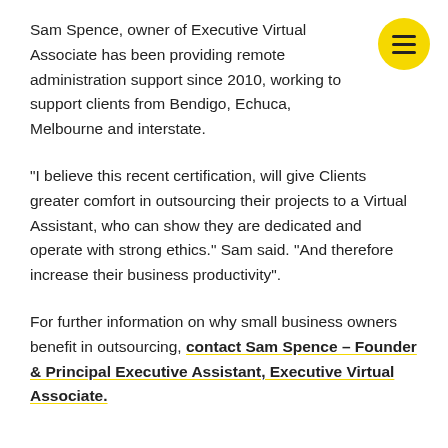Sam Spence, owner of Executive Virtual Associate has been providing remote administration support since 2010, working to support clients from Bendigo, Echuca, Melbourne and interstate.
"I believe this recent certification, will give Clients greater comfort in outsourcing their projects to a Virtual Assistant, who can show they are dedicated and operate with strong ethics." Sam said. "And therefore increase their business productivity".
For further information on why small business owners benefit in outsourcing, contact Sam Spence – Founder & Principal Executive Assistant, Executive Virtual Associate.